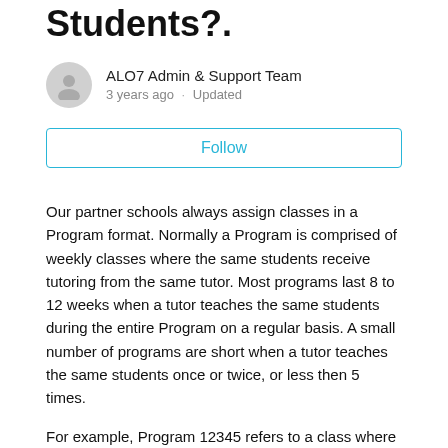Students?.
ALO7 Admin & Support Team
3 years ago · Updated
Follow
Our partner schools always assign classes in a Program format. Normally a Program is comprised of weekly classes where the same students receive tutoring from the same tutor. Most programs last 8 to 12 weeks when a tutor teaches the same students during the entire Program on a regular basis. A small number of programs are short when a tutor teaches the same students once or twice, or less then 5 times.
For example, Program 12345 refers to a class where the same TUTOR teaches 3 students (Mary, Tom and Jack) at 20:00 pm on Mondays for the duration of 8 to 12 weeks. In